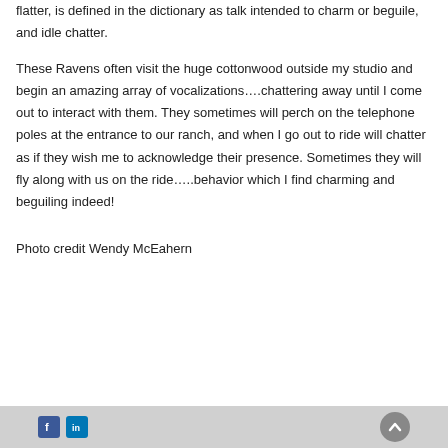flatter, is defined in the dictionary as talk intended to charm or beguile, and idle chatter.
These Ravens often visit the huge cottonwood outside my studio and begin an amazing array of vocalizations….chattering away until I come out to interact with them. They sometimes will perch on the telephone poles at the entrance to our ranch, and when I go out to ride will chatter as if they wish me to acknowledge their presence. Sometimes they will fly along with us on the ride…..behavior which I find charming and beguiling indeed!
Photo credit Wendy McEahern